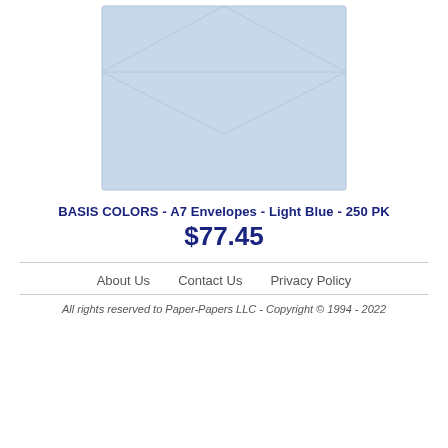[Figure (illustration): A light blue A7 envelope shown from the front, with a diagonal flap crease visible near the top. The envelope is rectangular with slightly rounded corners and subtle fold lines.]
BASIS COLORS - A7 Envelopes - Light Blue - 250 PK
$77.45
About Us   Contact Us   Privacy Policy
All rights reserved to Paper-Papers LLC - Copyright © 1994 - 2022